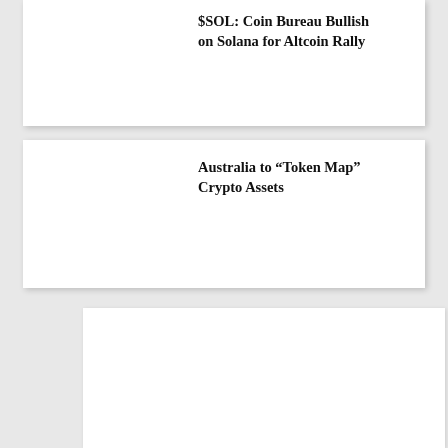$SOL: Coin Bureau Bullish on Solana for Altcoin Rally
Australia to “Token Map” Crypto Assets
[Figure (other): Advertisement or blank white panel area at bottom of page]